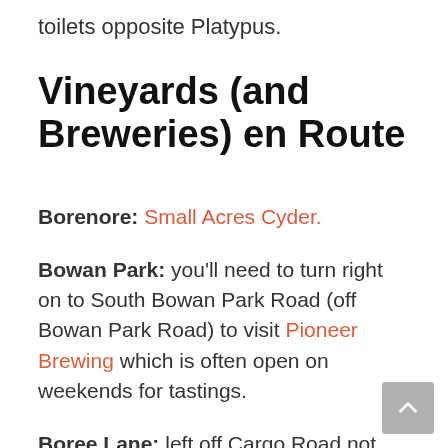toilets opposite Platypus.
Vineyards (and Breweries) en Route
Borenore: Small Acres Cyder.
Bowan Park: you'll need to turn right on to South Bowan Park Road (off Bowan Park Road) to visit Pioneer Brewing which is often open on weekends for tastings.
Boree Lane: left off Cargo Road not long after BPR, includes Strawhouse,